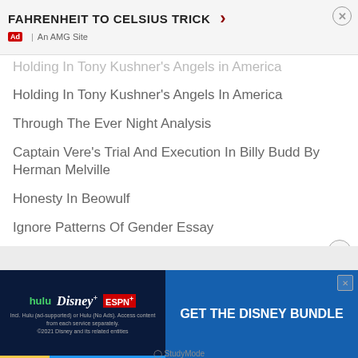[Figure (screenshot): Top advertisement banner for Fahrenheit to Celsius Trick with Ad badge and An AMG Site label, close button]
Holding In Tony Kushner's Angels In America
Through The Ever Night Analysis
Captain Vere's Trial And Execution In Billy Budd By Herman Melville
Honesty In Beowulf
Ignore Patterns Of Gender Essay
Trait-Based Perspectives Of Leadership
[Figure (screenshot): Bottom advertisement banner for Get The Disney Bundle featuring Hulu, Disney+, ESPN+ logos with fine print]
StudyMode